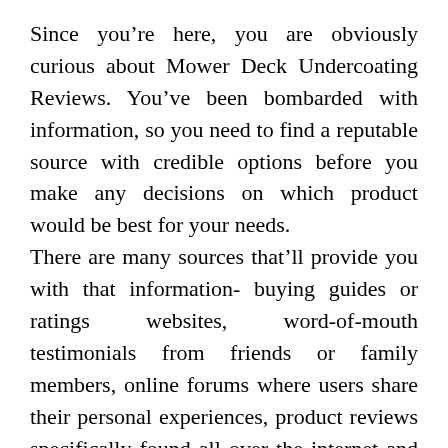Since you're here, you are obviously curious about Mower Deck Undercoating Reviews. You've been bombarded with information, so you need to find a reputable source with credible options before you make any decisions on which product would be best for your needs. There are many sources that'll provide you with that information- buying guides or ratings websites, word-of-mouth testimonials from friends or family members, online forums where users share their personal experiences, product reviews specifically found all over the internet and YouTube channels. Only thorough research will ensure that you get the right product. But that's not always easy, right? That's why we've taken time to compile a list of the best Mower Deck Undercoating in today's market, on your behalf, so that they will be easy for...